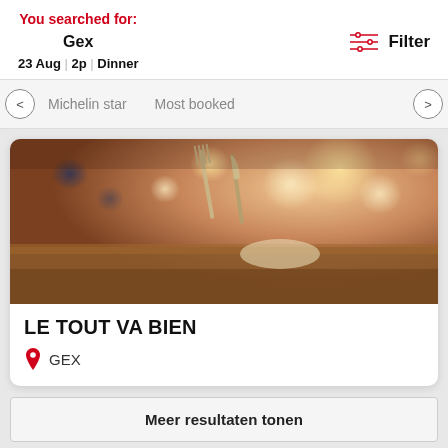You searched for:
Gex
23 Aug | 2p | Dinner
Filter
Michelin star
Most booked
[Figure (photo): Restaurant table setting with fork and knife, warm bokeh background]
LE TOUT VA BIEN
GEX
Meer resultaten tonen